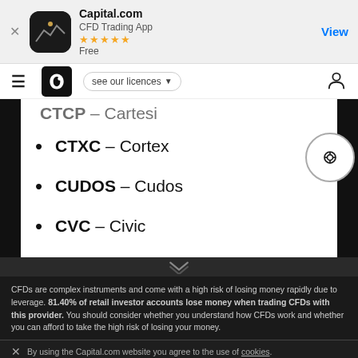[Figure (screenshot): Capital.com app store banner with icon, 5-star rating, Free label, and View button]
Capital.com | CFD Trading App | ★★★★★ | Free | View | see our licences
CTXC – Cortex
CUDOS – Cudos
CVC – Civic
CFDs are complex instruments and come with a high risk of losing money rapidly due to leverage. 81.40% of retail investor accounts lose money when trading CFDs with this provider. You should consider whether you understand how CFDs work and whether you can afford to take the high risk of losing your money.
By using the Capital.com website you agree to the use of cookies.